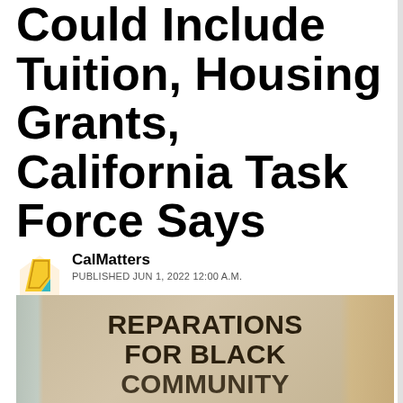Could Include Tuition, Housing Grants, California Task Force Says
CalMatters
PUBLISHED JUN 1, 2022 12:00 A.M.
[Figure (photo): Person holding a cardboard sign reading 'REPARATIONS FOR BLACK COMMUNITY' at a protest or demonstration]